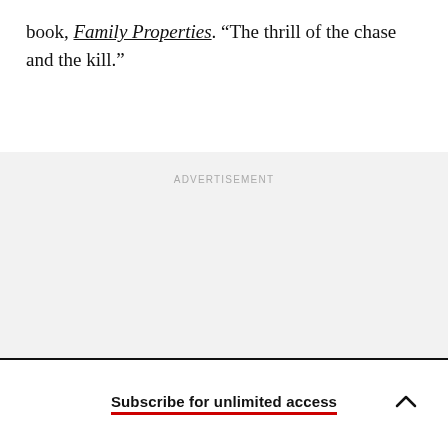book, Family Properties. “The thrill of the chase and the kill.”
[Figure (other): Advertisement placeholder block with light gray background and 'ADVERTISEMENT' label at top center]
Subscribe for unlimited access